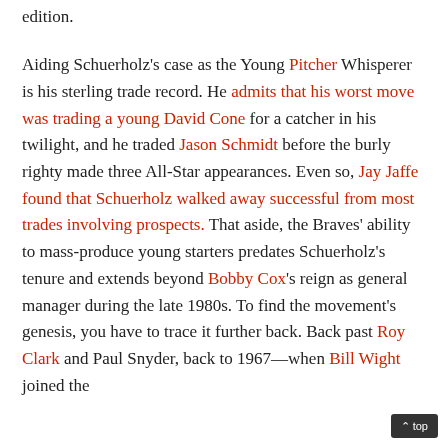edition.
Aiding Schuerholz's case as the Young Pitcher Whisperer is his sterling trade record. He admits that his worst move was trading a young David Cone for a catcher in his twilight, and he traded Jason Schmidt before the burly righty made three All-Star appearances. Even so, Jay Jaffe found that Schuerholz walked away successful from most trades involving prospects. That aside, the Braves' ability to mass-produce young starters predates Schuerholz's tenure and extends beyond Bobby Cox's reign as general manager during the late 1980s. To find the movement's genesis, you have to trace it further back. Back past Roy Clark and Paul Snyder, back to 1967—when Bill Wight joined the